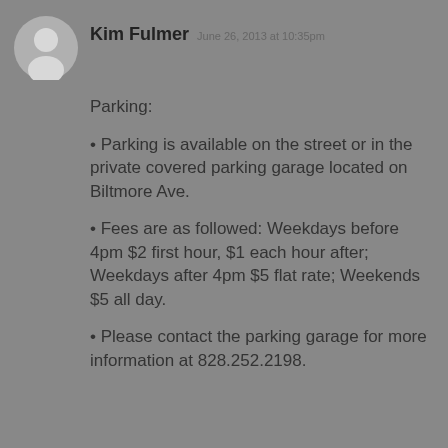[Figure (illustration): Circular avatar silhouette of a person in gray and white]
Kim Fulmer  June 26, 2013 at 10:35pm
Parking:
• Parking is available on the street or in the private covered parking garage located on Biltmore Ave.
• Fees are as followed: Weekdays before 4pm $2 first hour, $1 each hour after; Weekdays after 4pm $5 flat rate; Weekends $5 all day.
• Please contact the parking garage for more information at 828.252.2198.